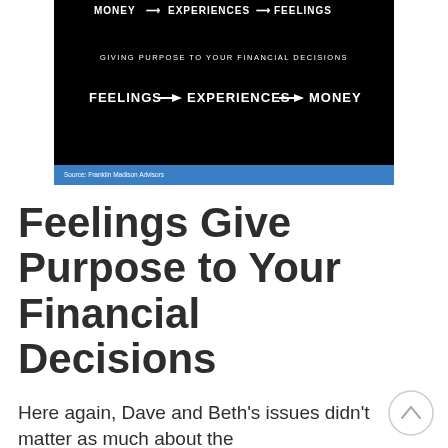[Figure (infographic): Black background infographic showing two rows with arrows. Top row (partially visible at top): MONEY → EXPERIENCES → FEELINGS. Middle text: GIVING PURPOSE TO YOUR FINANCIAL DECISIONS. Bottom row: FEELINGS → EXPERIENCES → MONEY. Blue footer bar with text: Source: Franklin Madison Advisors]
Feelings Give Purpose to Your Financial Decisions
Here again, Dave and Beth's issues didn't matter as much about the